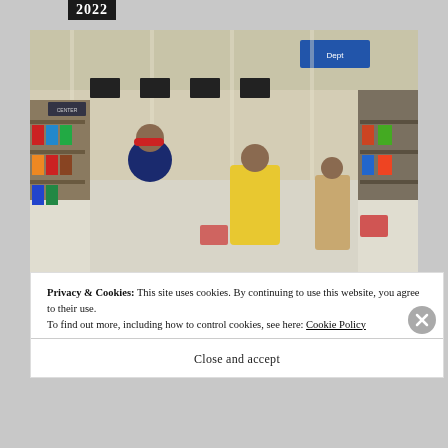2022
[Figure (photo): Interior of a large retail store (Walmart-style) with shoppers pushing carts down wide aisles. Shelves stocked with products on both sides. Shoppers include a woman in a red hat and blue jacket, a person in a yellow jacket, and others in the background. Blue and yellow signage overhead. Fluorescent lighting.]
Privacy & Cookies: This site uses cookies. By continuing to use this website, you agree to their use.
To find out more, including how to control cookies, see here: Cookie Policy
Close and accept
blinuri tre.ro